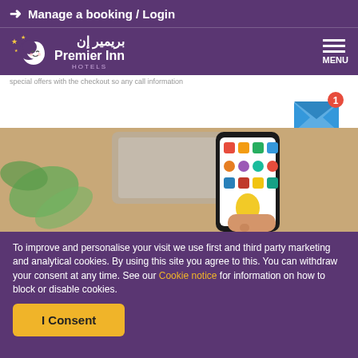Manage a booking / Login
[Figure (logo): Premier Inn logo with Arabic text and moon/stars icon, plus hamburger menu button]
special offers with the checkout so any call information
[Figure (illustration): Email envelope icon with red badge showing notification count 1]
[Figure (photo): Photo of a hand holding a smartphone with colorful app icons on screen, with a laptop and plant in background]
To improve and personalise your visit we use first and third party marketing and analytical cookies. By using this site you agree to this. You can withdraw your consent at any time. See our Cookie notice for information on how to block or disable cookies.
I Consent